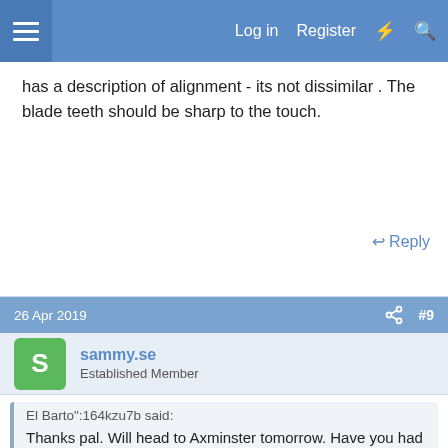Log in  Register
has a description of alignment - its not dissimilar . The blade teeth should be sharp to the touch.
↩ Reply
26 Apr 2019   #9
sammy.se
Established Member
El Barto":164kzu7b said:
Thanks pal. Will head to Axminster tomorrow. Have you had any issue with narrower kerf blades not fitting and such?
Report Ad